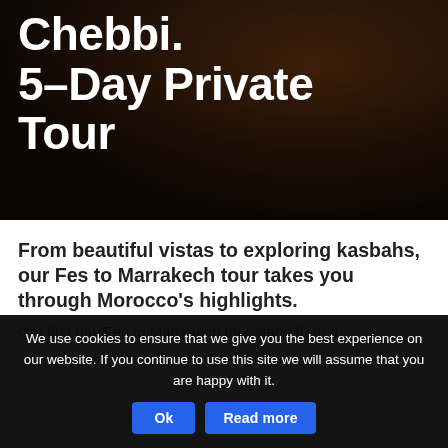[Figure (photo): Dark desert landscape with sand dunes background, brownish-black tones, serving as hero image background for a tour page.]
Chebbi. 5-Day Private Tour
From beautiful vistas to exploring kasbahs, our Fes to Marrakech tour takes you through Morocco's highlights.
Our first day Fes to Marrakech tour starts from...
We use cookies to ensure that we give you the best experience on our website. If you continue to use this site we will assume that you are happy with it.